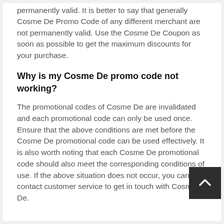permanently valid. It is better to say that generally Cosme De Promo Code of any different merchant are not permanently valid. Use the Cosme De Coupon as soon as possible to get the maximum discounts for your purchase.
Why is my Cosme De promo code not working?
The promotional codes of Cosme De are invalidated and each promotional code can only be used once. Ensure that the above conditions are met before the Cosme De promotional code can be used effectively. It is also worth noting that each Cosme De promotional code should also meet the corresponding conditions of use. If the above situation does not occur, you can contact customer service to get in touch with Cosme De.